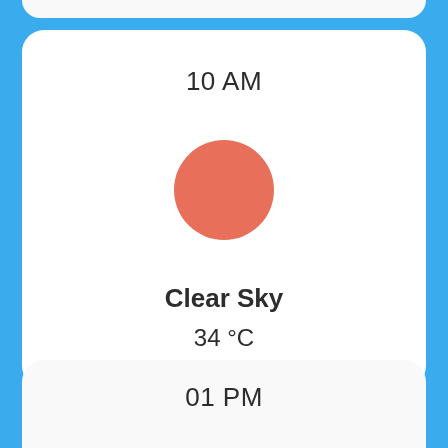10 AM
[Figure (illustration): Orange/salmon colored circle representing a weather icon (sunny/clear sky)]
Clear Sky
34 °C
01 PM